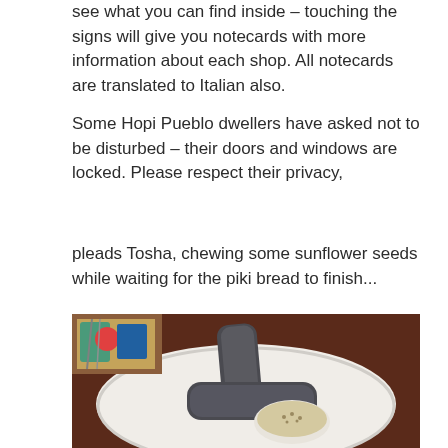see what you can find inside – touching the signs will give you notecards with more information about each shop. All notecards are translated to Italian also.
Some Hopi Pueblo dwellers have asked not to be disturbed – their doors and windows are locked. Please respect their privacy,
pleads Tosha, chewing some sunflower seeds while waiting for the piki bread to finish...
[Figure (photo): A white plate on a dark wooden table with two rolls of dark grey piki bread (traditional Hopi blue corn flatbread rolled into logs) and a small white bowl containing a light-colored dip or porridge topped with seeds. In the upper left background, a colorful illustration or painting is partially visible.]